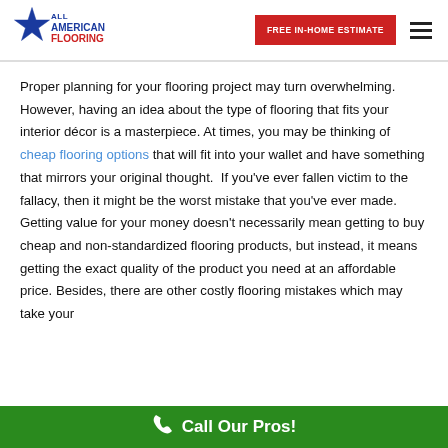[Figure (logo): All American Flooring logo with blue star and red/blue text]
[Figure (other): FREE IN-HOME ESTIMATE red button and hamburger menu icon]
Proper planning for your flooring project may turn overwhelming. However, having an idea about the type of flooring that fits your interior décor is a masterpiece. At times, you may be thinking of cheap flooring options that will fit into your wallet and have something that mirrors your original thought.  If you've ever fallen victim to the fallacy, then it might be the worst mistake that you've ever made. Getting value for your money doesn't necessarily mean getting to buy cheap and non-standardized flooring products, but instead, it means getting the exact quality of the product you need at an affordable price. Besides, there are other costly flooring mistakes which may take your
Call Our Pros!